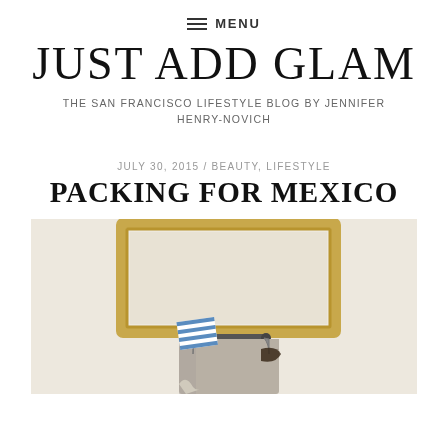≡ MENU
JUST ADD GLAM
THE SAN FRANCISCO LIFESTYLE BLOG BY JENNIFER HENRY-NOVICH
JULY 30, 2015 / BEAUTY, LIFESTYLE
PACKING FOR MEXICO
[Figure (photo): Photo of a beige tote bag with blue and white striped item inside, hanging against a cream wall with a gold ornate frame mirror above it]